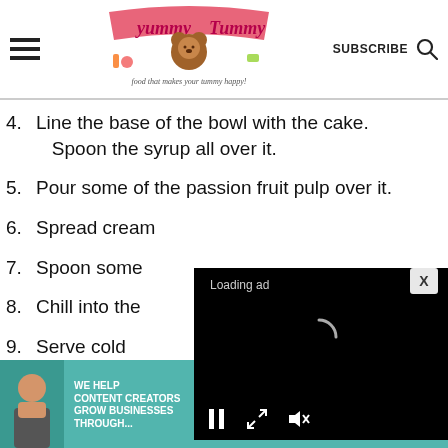Yummy Tummy — SUBSCRIBE
4. Line the base of the bowl with the cake. Spoon the syrup all over it.
5. Pour some of the passion fruit pulp over it.
6. Spread cream
7. Spoon some
8. Chill into the
[Figure (screenshot): Loading ad video overlay with spinner and playback controls on black background]
9. Serve cold
[Figure (infographic): SHE Partner Network advertisement banner: We help content creators grow businesses through... Learn More]